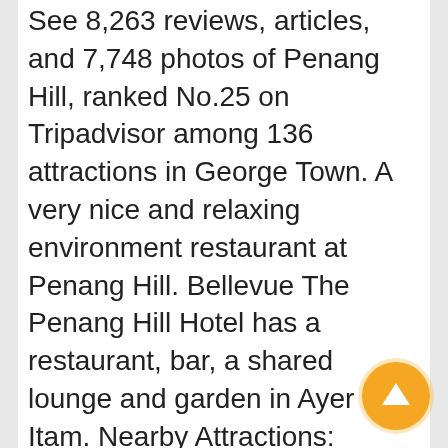See 8,263 reviews, articles, and 7,748 photos of Penang Hill, ranked No.25 on Tripadvisor among 136 attractions in George Town. A very nice and relaxing environment restaurant at Penang Hill. Bellevue The Penang Hill Hotel has a restaurant, bar, a shared lounge and garden in Ayer Itam. Nearby Attractions: Ratings: 5. The English tea house is a marvelous spot for afternoon tea! Bellevue Hotel Penang Hill is a 12 rooms colonial type of hotel with simple, nice, neat and clean set up. The plus point is you can enjoy lots of local food there such as Penang laksa, pasembur, rojak, char koay teow and many